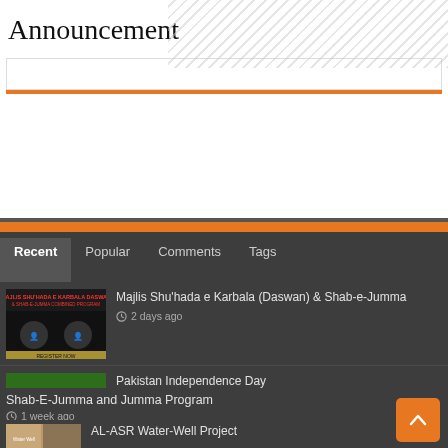Announcement
[Figure (screenshot): Search bar with orange bottom border]
Recent | Popular | Comments | Tags
[Figure (photo): Majlis Shu'hada e Karbala event poster with red text and speaker photos]
Majlis Shu'hada e Karbala (Daswan) & Shab-e-Jumma
2 days ago
[Figure (photo): Pakistan Independence Day Happy Independence Day graphic with green and white colors]
Pakistan Independence Day
5 days ago
Shab-E-Jumma and Jumma Program
1 week ago
[Figure (photo): AL-ASR Water-Well Project thumbnail]
AL-ASR Water-Well Project
1 week ago